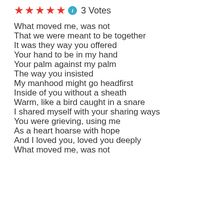[Figure (other): Five red star rating icons followed by a blue info icon and '3 Votes' text]
What moved me, was not
That we were meant to be together
It was they way you offered
Your hand to be in my hand
Your palm against my palm
The way you insisted
My manhood might go headfirst
Inside of you without a sheath
Warm, like a bird caught in a snare
I shared myself with your sharing ways
You were grieving, using me
As a heart hoarse with hope
And I loved you, loved you deeply
What moved me, was not